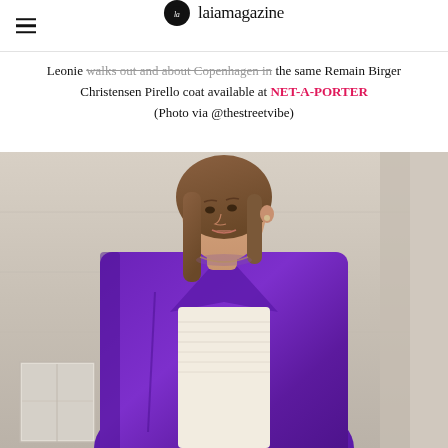laiamagazine
Leonie walks out and about Copenhagen in the same Remain Birger Christensen Pirello coat available at NET-A-PORTER (Photo via @thestreetvibe)
[Figure (photo): A woman with long brown hair wearing a vibrant purple leather coat over a white ribbed top, photographed outdoors against a stone wall background in Copenhagen street style]